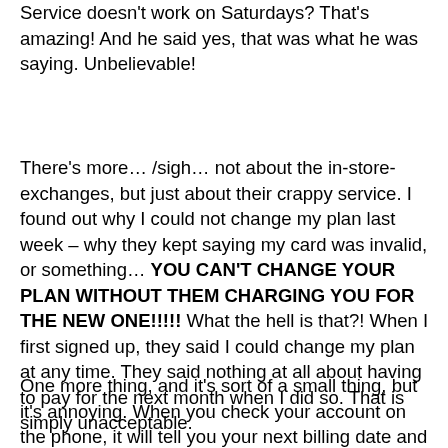Service doesn't work on Saturdays? That's amazing! And he said yes, that was what he was saying. Unbelievable!
There's more… /sigh… not about the in-store-exchanges, but just about their crappy service. I found out why I could not change my plan last week – why they kept saying my card was invalid, or something… YOU CAN'T CHANGE YOUR PLAN WITHOUT THEM CHARGING YOU FOR THE NEW ONE!!!!! What the hell is that?! When I first signed up, they said I could change my plan at any time. They said nothing at all about having to pay for the next month when I did so. That is simply unacceptable.
One more thing, and it's sort of a small thing, but it's annoying. When you check your account on the phone, it will tell you your next billing date and how much you will be charged on that date, and it's a